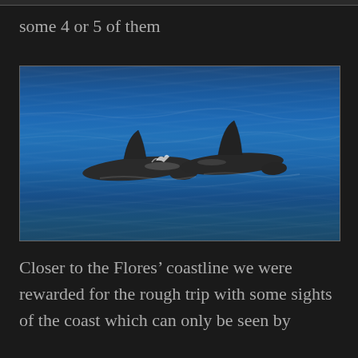some 4 or 5 of them
[Figure (photo): Two dolphins swimming at the ocean surface with blue water, their dorsal fins visible above the waves]
Closer to the Flores’ coastline we were rewarded for the rough trip with some sights of the coast which can only be seen by